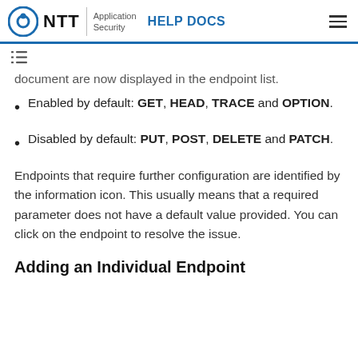NTT Application Security HELP DOCS
document are now displayed in the endpoint list.
Enabled by default: GET, HEAD, TRACE and OPTION.
Disabled by default: PUT, POST, DELETE and PATCH.
Endpoints that require further configuration are identified by the information icon. This usually means that a required parameter does not have a default value provided. You can click on the endpoint to resolve the issue.
Adding an Individual Endpoint